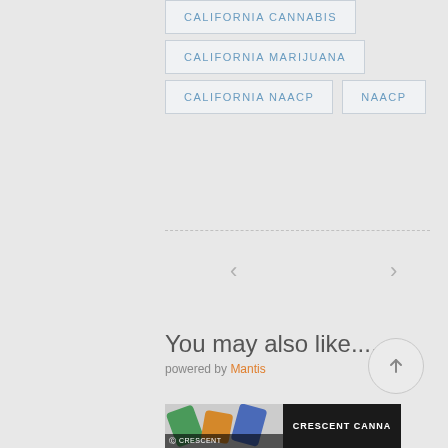CALIFORNIA CANNABIS
CALIFORNIA MARIJUANA
CALIFORNIA NAACP
NAACP
< >
You may also like....
powered by Mantis
[Figure (screenshot): Crescent Canna advertisement thumbnail with candy graphics and CRESCENT CANNA label]